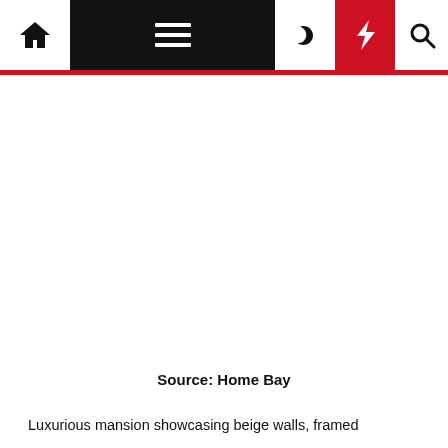Navigation bar with home, menu, moon, lightning, and search icons
[Figure (photo): White/blank image placeholder area representing a photo of a luxurious mansion with beige walls]
Source: Home Bay
Luxurious mansion showcasing beige walls, framed